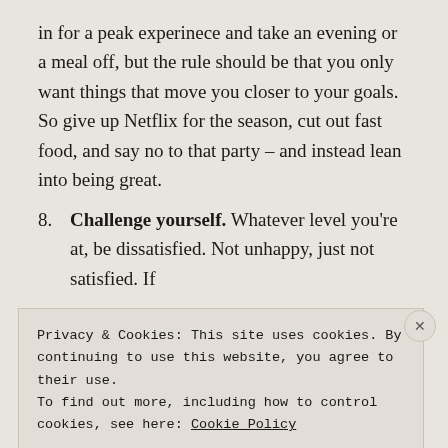in for a peak experinece and take an evening or a meal off, but the rule should be that you only want things that move you closer to your goals. So give up Netflix for the season, cut out fast food, and say no to that party – and instead lean into being great.
8. Challenge yourself. Whatever level you're at, be dissatisfied. Not unhappy, just not satisfied. If
Privacy & Cookies: This site uses cookies. By continuing to use this website, you agree to their use.
To find out more, including how to control cookies, see here: Cookie Policy
Close and accept